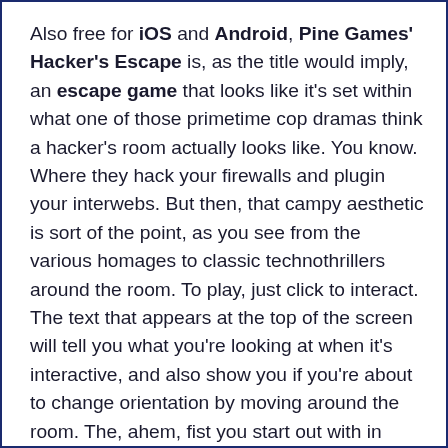Also free for iOS and Android, Pine Games' Hacker's Escape is, as the title would imply, an escape game that looks like it's set within what one of those primetime cop dramas think a hacker's room actually looks like. You know. Where they hack your firewalls and plugin your interwebs. But then, that campy aesthetic is sort of the point, as you see from the various homages to classic technothrillers around the room. To play, just click to interact. The text that appears at the top of the screen will tell you what you're looking at when it's interactive, and also show you if you're about to change orientation by moving around the room. The, ahem, fist you start out with in your inventory at the bottom of the screen is actually "force", so you can use it on objects that require a little bit of exertion to move or use. To combine items, or use one item on another, click them both in your inventory consecutively. Note, however, which...